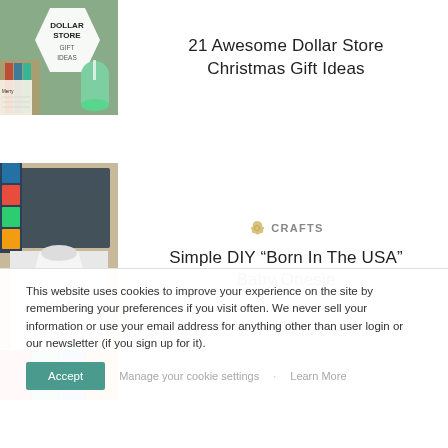[Figure (photo): Dollar store gift ideas thumbnail with hexagon graphic and green drink]
21 Awesome Dollar Store Christmas Gift Ideas
[Figure (photo): White baby onesie with 'born in the USA' text and stars, craft supplies in background]
CRAFTS
Simple DIY “Born In The USA” Baby Onesie
[Figure (photo): Partial view of colorful craft materials]
This website uses cookies to improve your experience on the site by remembering your preferences if you visit often. We never sell your information or use your email address for anything other than user login or our newsletter (if you sign up for it).